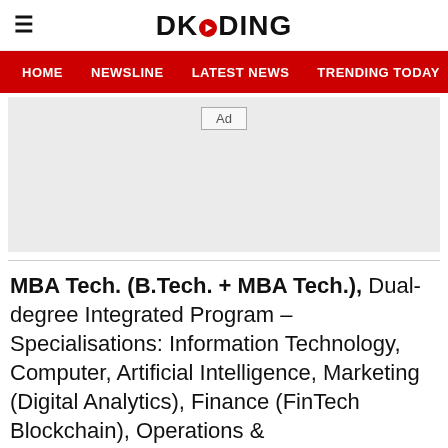DKODING
HOME  NEWSLINE  LATEST NEWS  TRENDING TODAY  ENT
[Figure (other): Advertisement placeholder box with 'Ad' label]
MBA Tech. (B.Tech. + MBA Tech.), Dual-degree Integrated Program – Specialisations: Information Technology, Computer, Artificial Intelligence, Marketing (Digital Analytics), Finance (FinTech Blockchain), Operations & Supply Chain, Business Intelligence, S...